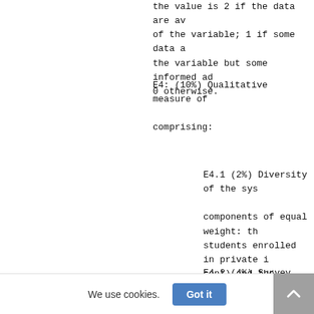the value is 2 if the data are av of the variable; 1 if some data a the variable but some informed ad 0 otherwise.
E4: (10%) Qualitative measure of comprising:
E4.1 (2%) Diversity of the sys components of equal weight: th students enrolled in private i cent) and the percentage of st level 5 courses, 2015.
E4.2 (4%) Survey results for t